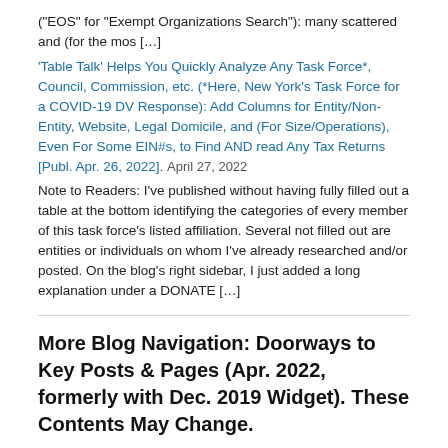("EOS" for "Exempt Organizations Search"): many scattered and (for the mos […]
'Table Talk' Helps You Quickly Analyze Any Task Force*, Council, Commission, etc. (*Here, New York's Task Force for a COVID-19 DV Response): Add Columns for Entity/Non-Entity, Website, Legal Domicile, and (For Size/Operations), Even For Some EIN#s, to Find AND read Any Tax Returns [Publ. Apr. 26, 2022]. April 27, 2022
Note to Readers: I've published without having fully filled out a table at the bottom identifying the categories of every member of this task force's listed affiliation. Several not filled out are entities or individuals on whom I've already researched and/or posted. On the blog's right sidebar, I just added a long explanation under a DONATE […]
More Blog Navigation: Doorways to Key Posts & Pages (Apr. 2022, formerly with Dec. 2019 Widget). These Contents May Change.
Current Posts, Most Recent on Top**(<~~Case-sensitive Page short-link